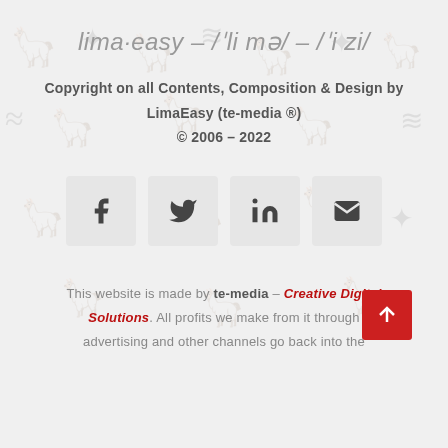lima·easy - /ˈli mə/ - /ˈi zi/
Copyright on all Contents, Composition & Design by LimaEasy (te-media ®)
© 2006 - 2022
[Figure (infographic): Four social media icon buttons in light gray squares: Facebook (f), Twitter (bird), LinkedIn (in), Email (envelope)]
This website is made by te-media - Creative Digital Solutions. All profits we make from it through advertising and other channels go back into the